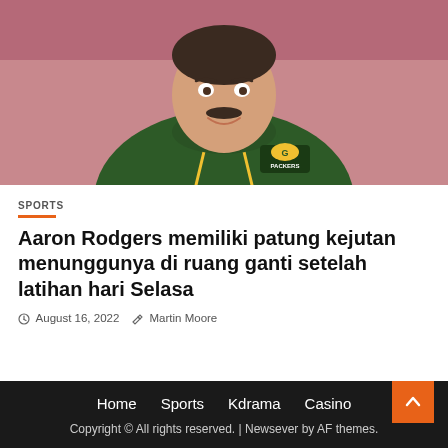[Figure (photo): A smiling man wearing a green Green Bay Packers hoodie with yellow drawstrings, photographed from the chest up against a blurred red background. He has a mustache and is smiling broadly.]
SPORTS
Aaron Rodgers memiliki patung kejutan menunggunya di ruang ganti setelah latihan hari Selasa
August 16, 2022   Martin Moore
Home  Sports  Kdrama  Casino
Copyright © All rights reserved. | Newsever by AF themes.